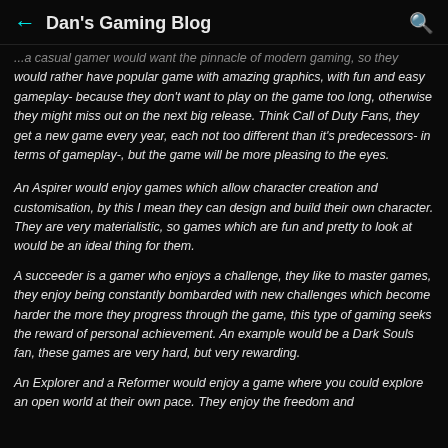Dan's Gaming Blog
...a casual gamer would want the pinnacle of modern gaming, so they would rather have popular game with amazing graphics, with fun and easy gameplay- because they don't want to play on the game too long, otherwise they might miss out on the next big release. Think Call of Duty Fans, they get a new game every year, each not too different than it's predecessors- in terms of gameplay-, but the game will be more pleasing to the eyes.
An Aspirer would enjoy games which allow character creation and customisation, by this I mean they can design and build their own character. They are very materialistic, so games which are fun and pretty to look at would be an ideal thing for them.
A succeeder is a gamer who enjoys a challenge, they like to master games, they enjoy being constantly bombarded with new challenges which become harder the more they progress through the game, this type of gaming seeks the reward of personal achievement. An example would be a Dark Souls fan, these games are very hard, but very rewarding.
An Explorer and a Reformer would enjoy a game where you could explore an open world at their own pace. They enjoy the freedom and